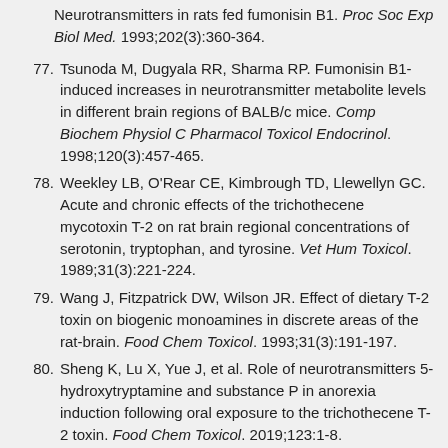(partial) Neurotransmitters in rats fed fumonisin B1. Proc Soc Exp Biol Med. 1993;202(3):360-364.
77. Tsunoda M, Dugyala RR, Sharma RP. Fumonisin B1-induced increases in neurotransmitter metabolite levels in different brain regions of BALB/c mice. Comp Biochem Physiol C Pharmacol Toxicol Endocrinol. 1998;120(3):457-465.
78. Weekley LB, O'Rear CE, Kimbrough TD, Llewellyn GC. Acute and chronic effects of the trichothecene mycotoxin T-2 on rat brain regional concentrations of serotonin, tryptophan, and tyrosine. Vet Hum Toxicol. 1989;31(3):221-224.
79. Wang J, Fitzpatrick DW, Wilson JR. Effect of dietary T-2 toxin on biogenic monoamines in discrete areas of the rat-brain. Food Chem Toxicol. 1993;31(3):191-197.
80. Sheng K, Lu X, Yue J, et al. Role of neurotransmitters 5-hydroxytryptamine and substance P in anorexia induction following oral exposure to the trichothecene T-2 toxin. Food Chem Toxicol. 2019;123:1-8.
81. Boyd KE, Fitzpatrick DW, Wilson JR, Wilson LM. Effect of T-